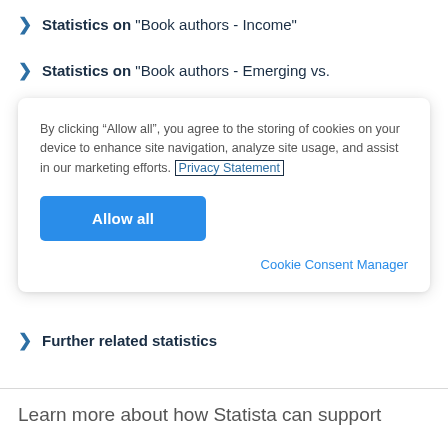Statistics on "Book authors - Income"
Statistics on "Book authors - Emerging vs.
By clicking “Allow all”, you agree to the storing of cookies on your device to enhance site navigation, analyze site usage, and assist in our marketing efforts. Privacy Statement
Allow all
Cookie Consent Manager
Further related statistics
Learn more about how Statista can support